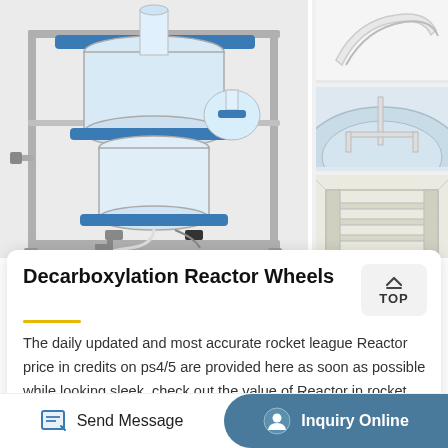[Figure (photo): Large glass decarboxylation reactor on a metal frame stand with blue clamps, tubing, and fittings. Multiple glass vessels visible.]
[Figure (photo): Close-up thumbnail of white laboratory component or fitting on light background.]
[Figure (photo): Close-up thumbnail of a stirring paddle or anchor agitator in a glass vessel.]
[Figure (photo): Close-up thumbnail of a glass or acrylic baffle or internal fitting component.]
Decarboxylation Reactor Wheels
The daily updated and most accurate rocket league Reactor price in credits on ps4/5 are provided here as soon as possible while looking sleek, check out the value of Reactor in rocket league ps4/ps5 market! here you also can view the price of Reactor in Rocket League Credits over the last 15…
Send Message
Inquiry Online